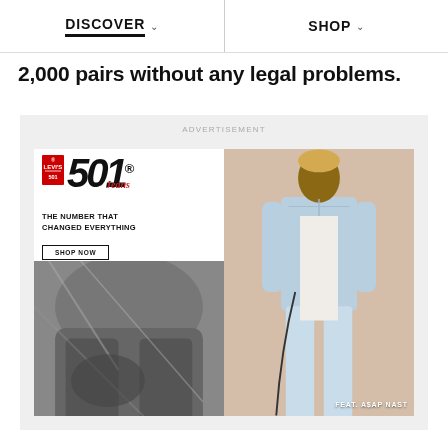DISCOVER  SHOP
2,000 pairs without any legal problems.
[Figure (advertisement): Levi's 501 Jeans advertisement featuring A$AP Nast. Left side shows Levi's 501 logo with red Levi's tab, large '501' text with superscript registered mark, red cursive 'Jeans' script, tagline 'THE NUMBER THAT CHANGED EVERYTHING', a 'SHOP NOW' button, and a black-and-white photo of folded jeans. Right side shows a color photo of a man (A$AP Nast) wearing light blue denim jacket and jeans standing. 'FEAT. A$AP NAST' label in bottom right.]